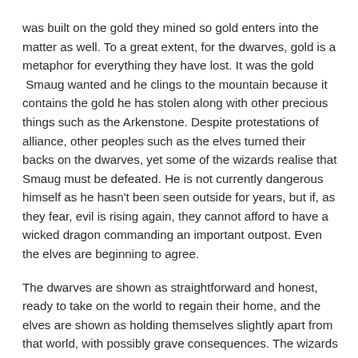was built on the gold they mined so gold enters into the matter as well. To a great extent, for the dwarves, gold is a metaphor for everything they have lost. It was the gold  Smaug wanted and he clings to the mountain because it contains the gold he has stolen along with other precious things such as the Arkenstone. Despite protestations of alliance, other peoples such as the elves turned their backs on the dwarves, yet some of the wizards realise that Smaug must be defeated. He is not currently dangerous himself as he hasn't been seen outside for years, but if, as they fear, evil is rising again, they cannot afford to have a wicked dragon commanding an important outpost. Even the elves are beginning to agree.
The dwarves are shown as straightforward and honest, ready to take on the world to regain their home, and the elves are shown as holding themselves slightly apart from that world, with possibly grave consequences. The wizards are shown to have divided opinions, based on differing interpretations of both history and current events.  This is a fully realised world with